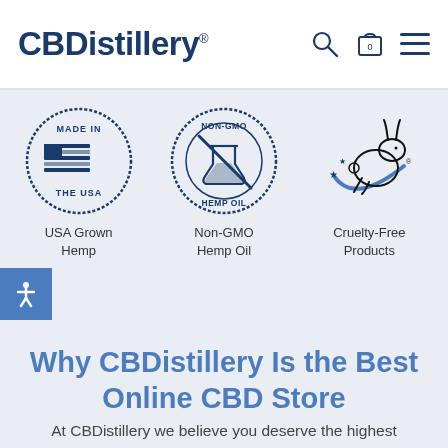CBDistillery®
[Figure (logo): Made in the USA stamp badge — circular stamp with American flag and text 'MADE IN THE USA']
USA Grown Hemp
[Figure (logo): Non-GMO Hemp Oil badge — circular stamp with crossed-out beaker flask and text 'NON-GMO HEMP OIL']
Non-GMO Hemp Oil
[Figure (logo): Cruelty-Free Products badge — leaping bunny logo with blue swoosh and stars]
Cruelty-Free Products
Why CBDistillery Is the Best Online CBD Store
At CBDistillery we believe you deserve the highest